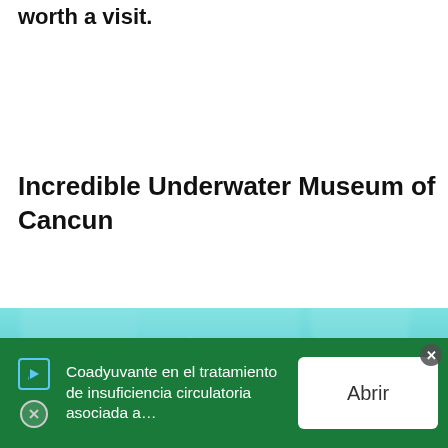worth a visit.
Incredible Underwater Museum of Cancun
[Figure (photo): Underwater photograph showing submerged stone/coral-covered human statues in turquoise-blue water at the Underwater Museum of Cancun (MUSA). Multiple humanoid figures stand on the seafloor, encrusted with algae and coral.]
Coadyuvante en el tratamiento de insuficiencia circulatoria asociada a…